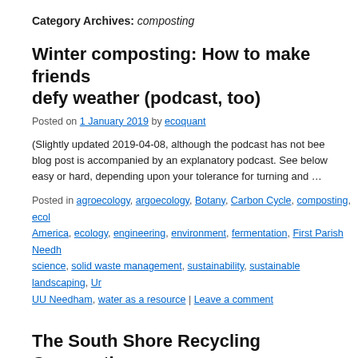Category Archives: composting
Winter composting: How to make friends defy weather (podcast, too)
Posted on 1 January 2019 by ecoquant
(Slightly updated 2019-04-08, although the podcast has not been blog post is accompanied by an explanatory podcast. See below easy or hard, depending upon your tolerance for turning and …
Posted in agroecology, argoecology, Botany, Carbon Cycle, composting, ecol America, ecology, engineering, environment, fermentation, First Parish Needh science, solid waste management, sustainability, sustainable landscaping, Ur UU Needham, water as a resource | Leave a comment
The South Shore Recycling Cooperative
Posted on 20 July 2017 by ecoquant
Abington, Cohasset, Duxbury, Hanover, Hanson, Hingham, Hul Plymouth, Rockland, Scituate, Weymouth, Whitman Join 'em A